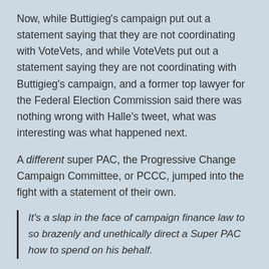Now, while Buttigieg's campaign put out a statement saying that they are not coordinating with VoteVets, and while VoteVets put out a statement saying they are not coordinating with Buttigieg's campaign, and a former top lawyer for the Federal Election Commission said there was nothing wrong with Halle's tweet, what was interesting was what happened next.
A different super PAC, the Progressive Change Campaign Committee, or PCCC, jumped into the fight with a statement of their own.
It's a slap in the face of campaign finance law to so brazenly and unethically direct a Super PAC how to spend on his behalf.